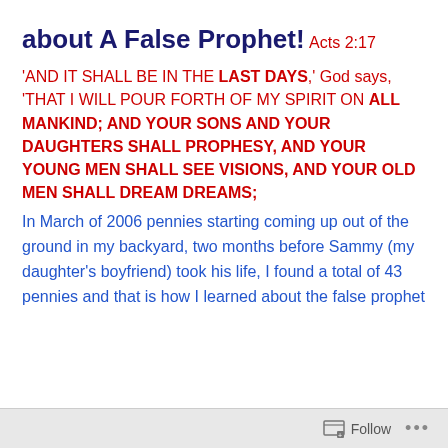about A False Prophet!
Acts 2:17
'AND IT SHALL BE IN THE LAST DAYS,' God says, 'THAT I WILL POUR FORTH OF MY SPIRIT ON ALL MANKIND; AND YOUR SONS AND YOUR DAUGHTERS SHALL PROPHESY, AND YOUR YOUNG MEN SHALL SEE VISIONS, AND YOUR OLD MEN SHALL DREAM DREAMS;
In March of 2006 pennies starting coming up out of the ground in my backyard, two months before Sammy (my daughter's boyfriend) took his life, I found a total of 43 pennies and that is how I learned about the false prophet
Follow